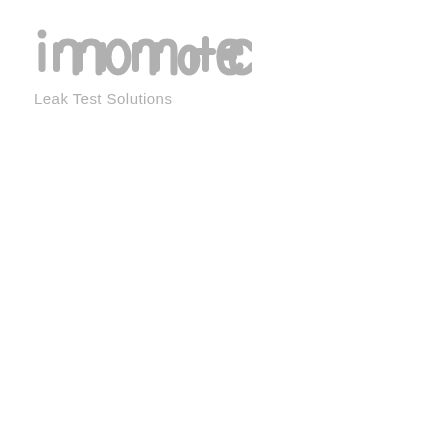[Figure (logo): innomatec logo with text 'innomatec' in grey and tagline 'Leak Test Solutions' below]
Leak Test Solutions